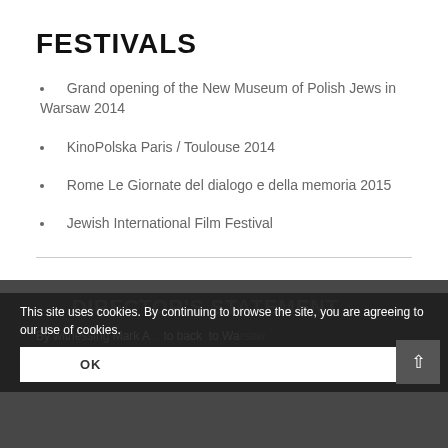FESTIVALS
Grand opening of the New Museum of Polish Jews in Warsaw 2014
KinoPolska Paris / Toulouse 2014
Rome Le Giornate del dialogo e della memoria 2015
Jewish International Film Festival
DIRECTOR'S STATEMENT
By witnessing Mark A... back to Warsaw... began to explore, as in my... as, the interdependence between past and present... individual memory and
This site uses cookies. By continuing to browse the site, you are agreeing to our use of cookies.